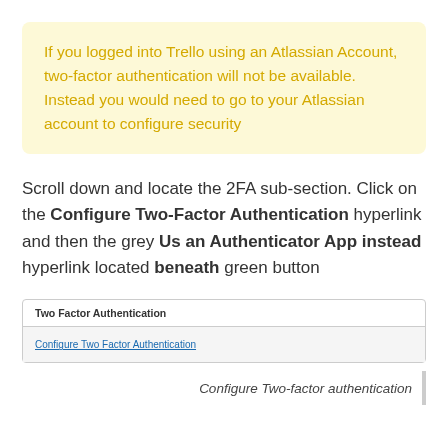If you logged into Trello using an Atlassian Account, two-factor authentication will not be available. Instead you would need to go to your Atlassian account to configure security
Scroll down and locate the 2FA sub-section. Click on the Configure Two-Factor Authentication hyperlink and then the grey Us an Authenticator App instead hyperlink located beneath green button
[Figure (screenshot): Screenshot of Two Factor Authentication section with header 'Two Factor Authentication' and a link 'Configure Two Factor Authentication']
Configure Two-factor authentication